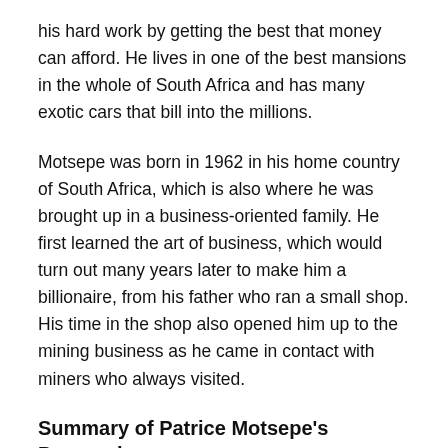his hard work by getting the best that money can afford. He lives in one of the best mansions in the whole of South Africa and has many exotic cars that bill into the millions.
Motsepe was born in 1962 in his home country of South Africa, which is also where he was brought up in a business-oriented family. He first learned the art of business, which would turn out many years later to make him a billionaire, from his father who ran a small shop. His time in the shop also opened him up to the mining business as he came in contact with miners who always visited.
Summary of Patrice Motsepe's Personal Profile